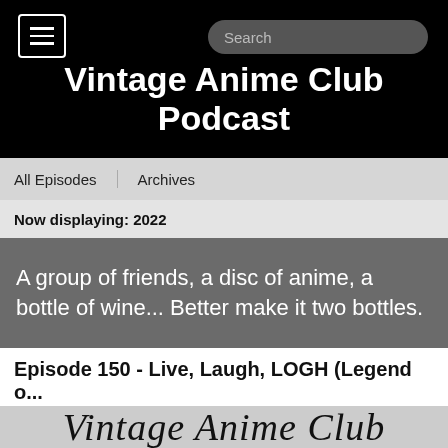Vintage Anime Club Podcast
Vintage Anime Club Podcast
All Episodes   Archives
Now displaying: 2022
A group of friends, a disc of anime, a bottle of wine... Better make it two bottles.
Episode 150 - Live, Laugh, LOGH (Legend o...
Aug 18, 2022
[Figure (illustration): Vintage Anime Club logo rendered in cursive script on a light gray background]